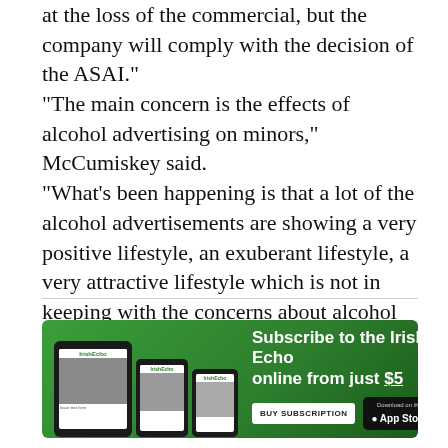at the loss of the commercial, but the company will comply with the decision of the ASAI." "The main concern is the effects of alcohol advertising on minors," McCumiskey said. "What's been happening is that a lot of the alcohol advertisements are showing a very positive lifestyle, an exuberant lifestyle, a very attractive lifestyle which is not in keeping with the concerns about alcohol and alcohol abuse, particularly by young people."
[Figure (infographic): Irish Echo subscription advertisement banner with green background showing tablet and phone devices with Irish Echo newspaper app, subscription call to action reading 'Subscribe to the Irish Echo online from just $5' with BUY SUBSCRIPTION and App Store buttons.]